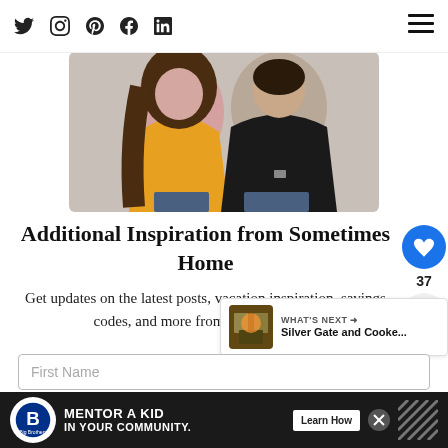Navigation bar with social icons: Twitter, Instagram, Pinterest, Facebook, LinkedIn and hamburger menu
[Figure (photo): Couple photo: woman in yellow top with long brown hair and man in black shirt, sitting together]
Additional Inspiration from Sometimes Home
Get updates on the latest posts, vacation inspiration, savings codes, and more from Mikkel + Dan!
[Figure (other): Heart like button (blue circle) with count 37, and share button below]
[Figure (other): What's Next arrow panel with thumbnail image and text: Silver Gate and Cooke...]
First Name
[Figure (other): Ad banner: Big Brothers Big Sisters logo, MENTOR A KID IN YOUR COMMUNITY. Learn How button, close X button]